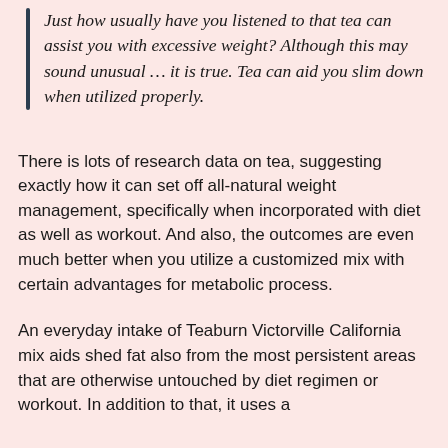Just how usually have you listened to that tea can assist you with excessive weight? Although this may sound unusual … it is true. Tea can aid you slim down when utilized properly.
There is lots of research data on tea, suggesting exactly how it can set off all-natural weight management, specifically when incorporated with diet as well as workout. And also, the outcomes are even much better when you utilize a customized mix with certain advantages for metabolic process.
An everyday intake of Teaburn Victorville California mix aids shed fat also from the most persistent areas that are otherwise untouched by diet regimen or workout. In addition to that, it uses a